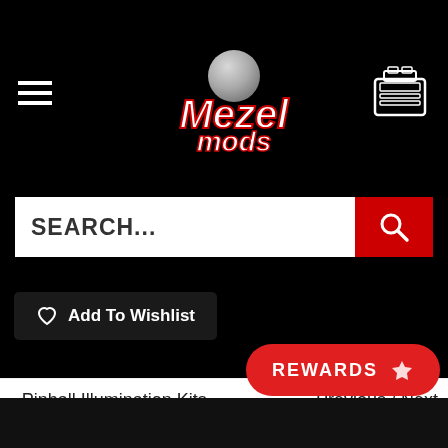[Figure (logo): Mezel Mods logo with a grey pinball on top and stylized italic text 'Mezel mods' in white with red outline]
[Figure (screenshot): Search bar with placeholder text SEARCH... and a red search button with magnifying glass icon]
Add To Wishlist
< Pinball Illumination Kits    Previous / Next
REWARDS